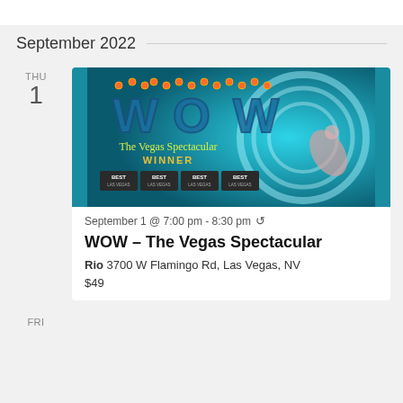September 2022
THU
1
[Figure (photo): WOW – The Vegas Spectacular promotional banner showing the WOW logo with marquee lights and an acrobat performer against a teal background, with text 'The Vegas Spectacular WINNER BEST LAS VEGAS' repeated four times]
September 1 @ 7:00 pm - 8:30 pm ↺
WOW – The Vegas Spectacular
Rio 3700 W Flamingo Rd, Las Vegas, NV
$49
FRI